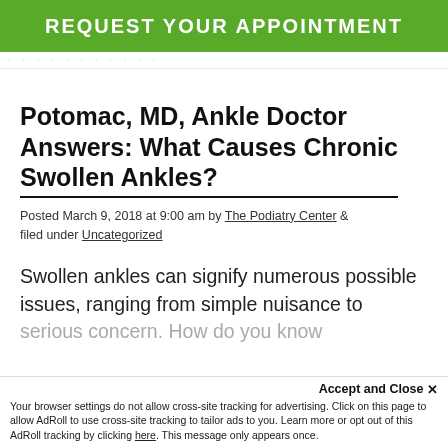REQUEST YOUR APPOINTMENT
Potomac, MD, Ankle Doctor Answers: What Causes Chronic Swollen Ankles?
Posted March 9, 2018 at 9:00 am by The Podiatry Center & filed under Uncategorized
Swollen ankles can signify numerous possible issues, ranging from simple nuisance to serious concern. How do you know should you take your...
Your browser settings do not allow cross-site tracking for advertising. Click on this page to allow AdRoll to use cross-site tracking to tailor ads to you. Learn more or opt out of this AdRoll tracking by clicking here. This message only appears once.